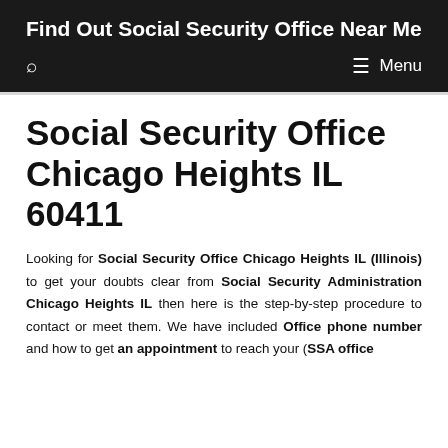Find Out Social Security Office Near Me
Social Security Office Chicago Heights IL 60411
Looking for Social Security Office Chicago Heights IL (Illinois) to get your doubts clear from Social Security Administration Chicago Heights IL then here is the step-by-step procedure to contact or meet them. We have included Office phone number and how to get an appointment to reach your (SSA office